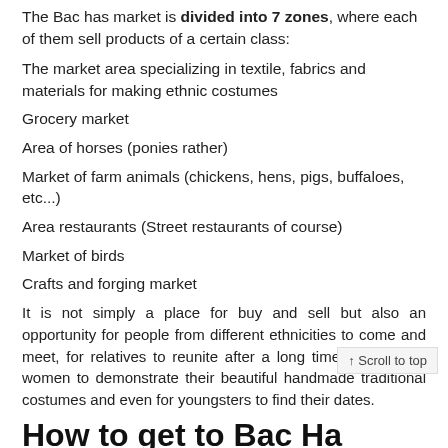The Bac has market is divided into 7 zones, where each of them sell products of a certain class:
The market area specializing in textile, fabrics and materials for making ethnic costumes
Grocery market
Area of horses (ponies rather)
Market of farm animals (chickens, hens, pigs, buffaloes, etc...)
Area restaurants (Street restaurants of course)
Market of birds
Crafts and forging market
It is not simply a place for buy and sell but also an opportunity for people from different ethnicities to come and meet, for relatives to reunite after a long time missing, for women to demonstrate their beautiful handmade traditional costumes and even for youngsters to find their dates.
How to get to Bac Ha Market – Sapa?